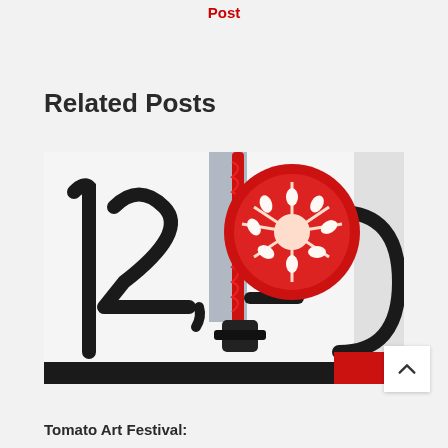Post
Related Posts
[Figure (photo): Close-up photo showing a sliced tomato mounted on a red rod/stick, placed in front of a white sign with black handwritten numbers '12-' partially visible. A black clamp holds the rod. Red and black colors dominate.]
Tomato Art Festival: